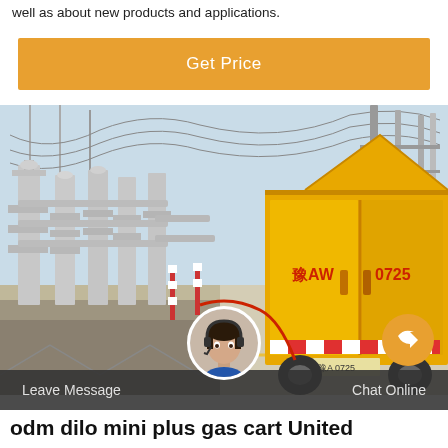well as about new products and applications.
[Figure (other): Orange 'Get Price' button with white text on an orange background]
[Figure (photo): Electrical substation with high-voltage equipment and grey pipe structures on the left; a yellow truck with Chinese markings '豫AW 0725' parked on the right side of a concrete road at the facility]
[Figure (photo): Customer service representative headshot in a circular avatar at the bottom center of the image]
[Figure (other): Orange circular arrow/refresh button icon at bottom right]
Leave Message
Chat Online
odm dilo mini plus gas cart United